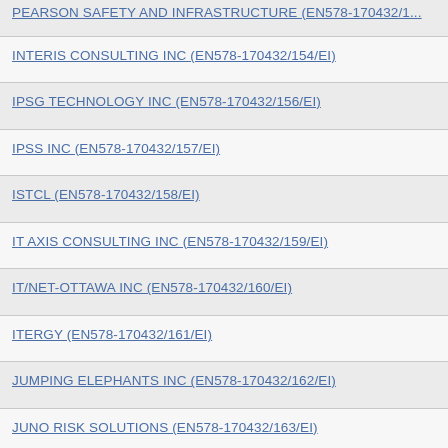PEARSON SAFETY AND INFRASTRUCTURE (EN578-170432/153/EI)
INTERIS CONSULTING INC (EN578-170432/154/EI)
IPSG TECHNOLOGY INC (EN578-170432/156/EI)
IPSS INC (EN578-170432/157/EI)
ISTCL (EN578-170432/158/EI)
IT AXIS CONSULTING INC (EN578-170432/159/EI)
IT/NET-OTTAWA INC (EN578-170432/160/EI)
ITERGY (EN578-170432/161/EI)
JUMPING ELEPHANTS INC (EN578-170432/162/EI)
JUNO RISK SOLUTIONS (EN578-170432/163/EI)
KNOWLEDGE PROVIDERS INC (EN578-170432/164/EI)